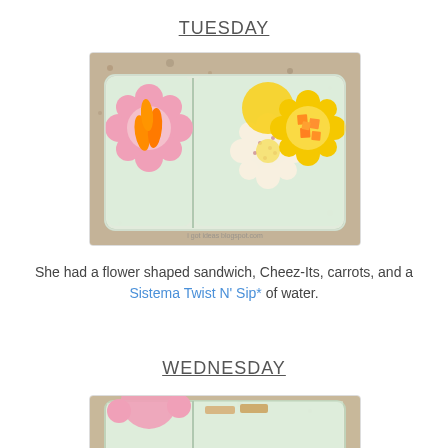TUESDAY
[Figure (photo): A clear plastic lunchbox with three compartments, each containing a flower-shaped silicone cup. Left cup is pink with baby carrots, middle has a flower-shaped sandwich with sprinkles, right is yellow with Cheez-It crackers. The lunchbox sits on a granite countertop.]
She had a flower shaped sandwich, Cheez-Its, carrots, and a Sistema Twist N' Sip* of water.
WEDNESDAY
[Figure (photo): Partial view of a lunchbox on a granite countertop, cropped at the bottom of the page.]